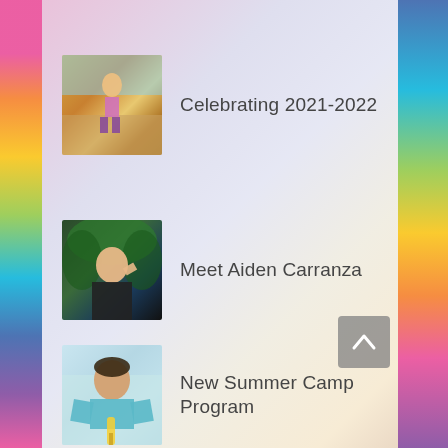[Figure (photo): Child playing outdoors on playground equipment, warm tones]
Celebrating 2021-2022
[Figure (photo): Child in dark clothes with fist raised, outdoor background]
Meet Aiden Carranza
[Figure (photo): Young boy in teal shirt holding a popsicle or corn, light background]
New Summer Camp Program